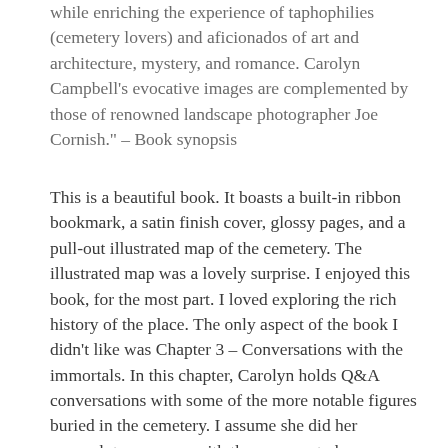while enriching the experience of taphophilies (cemetery lovers) and aficionados of art and architecture, mystery, and romance. Carolyn Campbell's evocative images are complemented by those of renowned landscape photographer Joe Cornish." – Book synopsis
This is a beautiful book. It boasts a built-in ribbon bookmark, a satin finish cover, glossy pages, and a pull-out illustrated map of the cemetery. The illustrated map was a lovely surprise. I enjoyed this book, for the most part. I loved exploring the rich history of the place. The only aspect of the book I didn't like was Chapter 3 – Conversations with the immortals. In this chapter, Carolyn holds Q&A conversations with some of the more notable figures buried in the cemetery. I assume she did her research to come up with the answers to her interview-style questions, but these notable figures have passed on—some over a hundred years ago. It